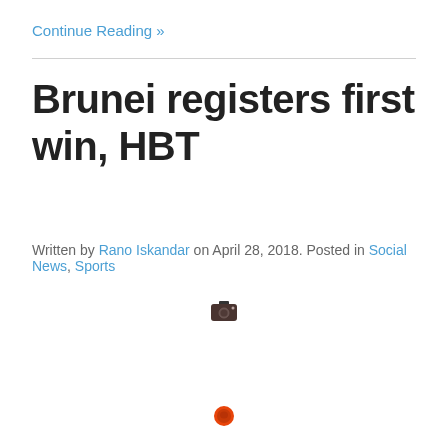Continue Reading »
Brunei registers first win, HBT
Written by Rano Iskandar on April 28, 2018. Posted in Social News, Sports
[Figure (photo): Small camera icon image placeholder]
[Figure (photo): Small orange/red icon image placeholder]